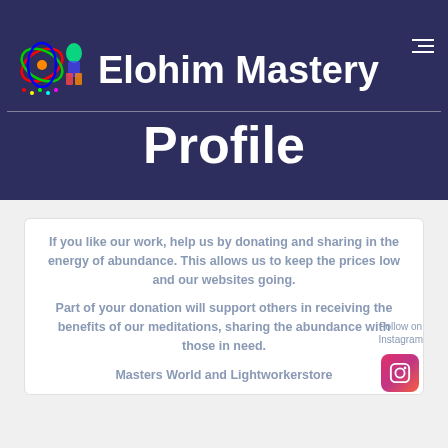6.4 Elohim Mastery Profile
If you like our work, help us by donating and sharing in the energy of abundance. This allows us to keep the prices low and our websites going.

Part of your donation will support others in receiving the benefits of our meditations, sharing the abundance with those in need.

Masters World and Lightworkerstore